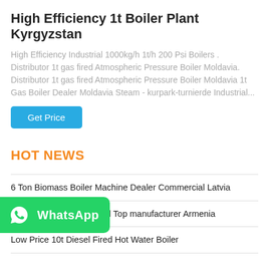High Efficiency 1t Boiler Plant Kyrgyzstan
High Efficiency Industrial 1000kg/h 1t/h 200 Psi Boilers . Distributor 1t gas fired Atmospheric Pressure Boiler Moldavia. Distributor 1t gas fired Atmospheric Pressure Boiler Moldavia 1t Gas Boiler Dealer Moldavia Steam - kurpark-turnierde Industrial...
HOT NEWS
6 Ton Biomass Boiler Machine Dealer Commercial Latvia
2t oil fired Boiler Industrial Top manufacturer Armenia
Low Price 10t Diesel Fired Hot Water Boiler
...iler
Commercial Dealer 4 Ton Coal Steam Boiler Turkmenistan